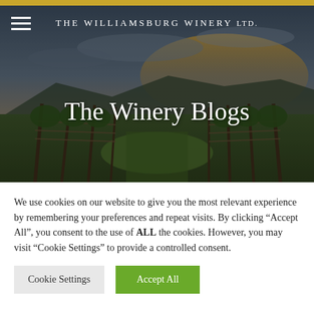[Figure (photo): Vineyard hero image showing rows of grapevines with posts in a green field, with dramatic sky and mountains in the background. Dark atmospheric lighting.]
The Williamsburg Winery Ltd.
The Winery Blogs
We use cookies on our website to give you the most relevant experience by remembering your preferences and repeat visits. By clicking “Accept All”, you consent to the use of ALL the cookies. However, you may visit "Cookie Settings" to provide a controlled consent.
Cookie Settings | Accept All